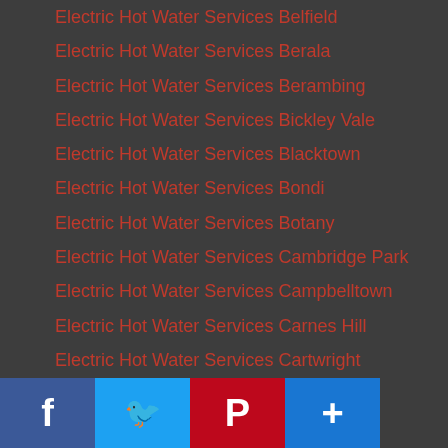Electric Hot Water Services Belfield
Electric Hot Water Services Berala
Electric Hot Water Services Berambing
Electric Hot Water Services Bickley Vale
Electric Hot Water Services Blacktown
Electric Hot Water Services Bondi
Electric Hot Water Services Botany
Electric Hot Water Services Cambridge Park
Electric Hot Water Services Campbelltown
Electric Hot Water Services Carnes Hill
Electric Hot Water Services Cartwright
Electric Hot Water Services Chatswood
Electric Hot Water Services Chullora
Electric Hot Water Services Clyde
Electric Hot Water Services Cobbitty
Electric Hot Water Services Como
Electric Hot Water Services Concord
Electric Hot Water Services Cornwallis
Electric Hot Water Services Cottage Point